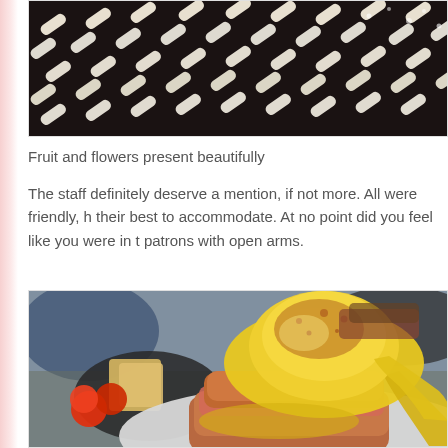[Figure (photo): Close-up food photo showing a dark grill or baking sheet with a diagonal dash/stripe pattern, possibly chocolate or bread with powdered sugar]
Fruit and flowers present beautifully
The staff definitely deserve a mention, if not more. All were friendly, h their best to accommodate. At no point did you feel like you were in t patrons with open arms.
[Figure (photo): Close-up food photo of eggs benedict with hollandaise sauce drizzled over a poached egg on a breaded base, with cherry tomatoes and toast in the background, served on a grey plate]